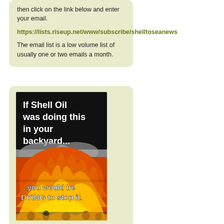then click on the link below and enter your email.
https://lists.riseup.net/www/subscribe/shelltoseanews
The email list is a low volume list of usually one or two emails a month.
[Figure (photo): Protest meme image with black background at top showing white bold text 'If Shell Oil was doing this in your backyard...' and below a large fire with text '...you would be DYING to stop it.' People visible at the bottom.]